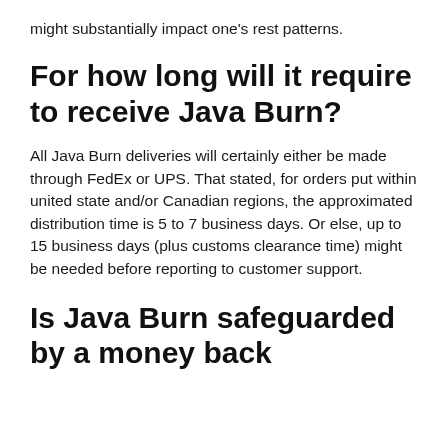might substantially impact one's rest patterns.
For how long will it require to receive Java Burn?
All Java Burn deliveries will certainly either be made through FedEx or UPS. That stated, for orders put within united state and/or Canadian regions, the approximated distribution time is 5 to 7 business days. Or else, up to 15 business days (plus customs clearance time) might be needed before reporting to customer support.
Is Java Burn safeguarded by a money back